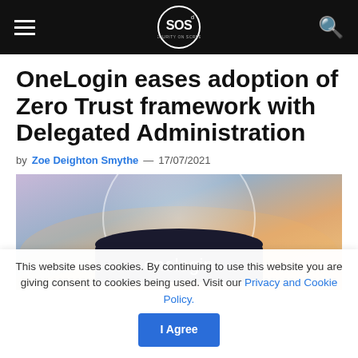SOS Security on Screen — navigation bar
OneLogin eases adoption of Zero Trust framework with Delegated Administration
by Zoe Deighton Smythe — 17/07/2021
[Figure (photo): OneLogin promotional banner image with purple/orange gradient background and white circular overlay containing a dark badge with 'onelogin' text in white]
This website uses cookies. By continuing to use this website you are giving consent to cookies being used. Visit our Privacy and Cookie Policy.   I Agree